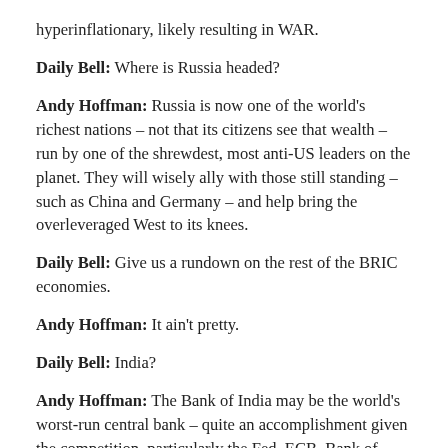hyperinflationary, likely resulting in WAR.
Daily Bell: Where is Russia headed?
Andy Hoffman: Russia is now one of the world's richest nations – not that its citizens see that wealth – run by one of the shrewdest, most anti-US leaders on the planet. They will wisely ally with those still standing – such as China and Germany – and help bring the overleveraged West to its knees.
Daily Bell: Give us a rundown on the rest of the BRIC economies.
Andy Hoffman: It ain't pretty.
Daily Bell: India?
Andy Hoffman: The Bank of India may be the world's worst-run central bank – quite an accomplishment given the competition, particularly the Fed, ECB, Bank of England and